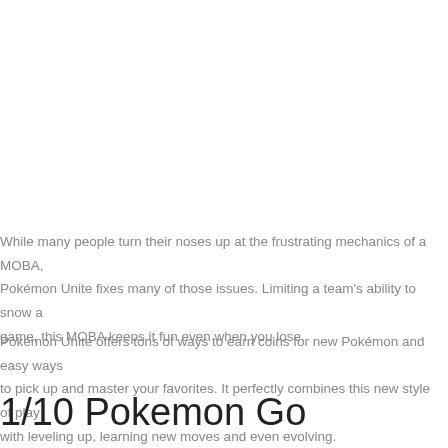While many people turn their noses up at the frustrating mechanics of a MOBA, Pokémon Unite fixes many of those issues. Limiting a team's ability to snow a game, this MOBA keeps it fun even when you lose.
Pokémon Unite offers tons of ways to earn coins for new Pokémon and easy ways to pick up and master your favorites. It perfectly combines this new style of play with leveling up, learning new moves and even evolving.
1/10 Pokemon Go